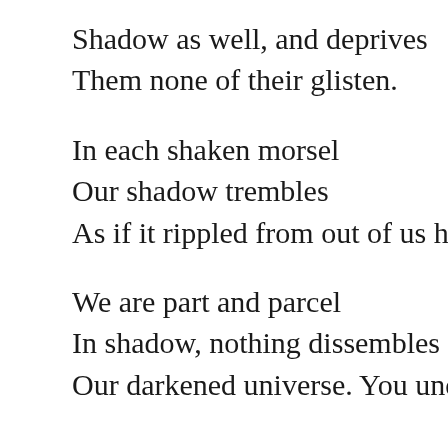Shadow as well, and deprives
Them none of their glisten.
In each shaken morsel
Our shadow trembles
As if it rippled from out of us har
We are part and parcel
In shadow, nothing dissembles
Our darkened universe. You und